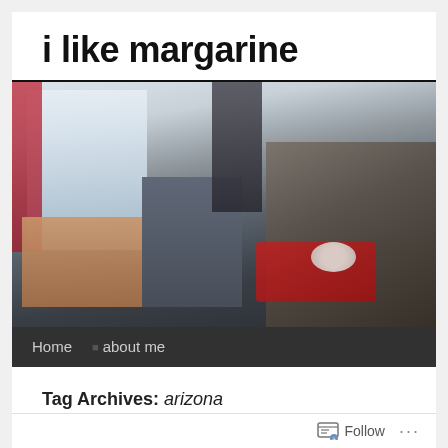i like margarine
[Figure (photo): Header photo of a cluttered room with boxes, a dark storage bin, a Star Wars AT-AT figure, tape rolls, red cloth, and various items on a desk near a window with red curtains]
Home  ■ about me
Tag Archives: arizona
Follow  ...